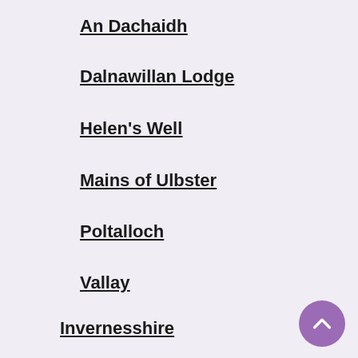An Dachaidh
Dalnawillan Lodge
Helen's Well
Mains of Ulbster
Poltalloch
Vallay
Invernesshire
Allt Catanach
Badnambiast